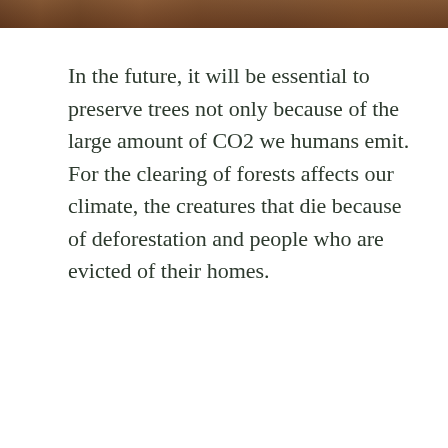[Figure (photo): Partial photo strip at the top of the page showing what appears to be a person or animal with reddish-brown tones, cropped to a thin horizontal band.]
In the future, it will be essential to preserve trees not only because of the large amount of CO2 we humans emit. For the clearing of forests affects our climate, the creatures that die because of deforestation and people who are evicted of their homes.